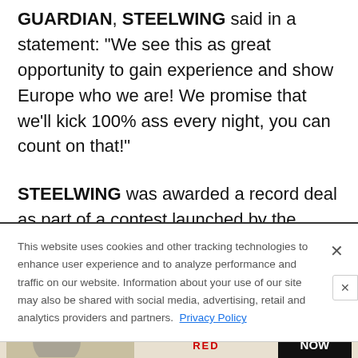GUARDIAN, STEELWING said in a statement: "We see this as great opportunity to gain experience and show Europe who we are! We promise that we'll kick 100% ass every night, you can count on that!"

STEELWING was awarded a record deal as part of a contest launched by the Austrian management and booking company Rock The
This website uses cookies and other tracking technologies to enhance user experience and to analyze performance and traffic on our website. Information about your use of our site may also be shared with social media, advertising, retail and analytics providers and partners. Privacy Policy
[Figure (other): Advertisement banner for Alter Bridge 'Pawns & Kings' tour with guests Mammoth WVH and Red, with 'GET TICKETS NOW' call to action]